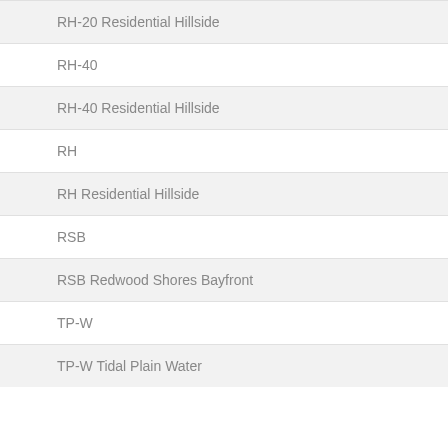RH-20 Residential Hillside
RH-40
RH-40 Residential Hillside
RH
RH Residential Hillside
RSB
RSB Redwood Shores Bayfront
TP-W
TP-W Tidal Plain Water